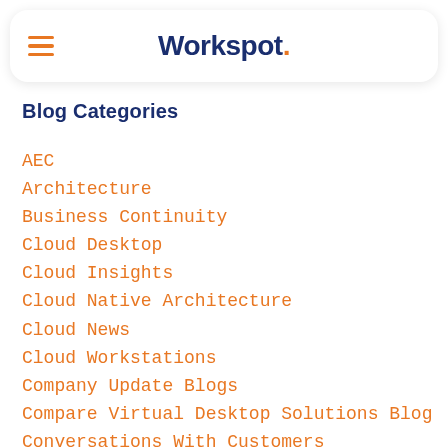Workspot.
Blog Categories
AEC
Architecture
Business Continuity
Cloud Desktop
Cloud Insights
Cloud Native Architecture
Cloud News
Cloud Workstations
Company Update Blogs
Compare Virtual Desktop Solutions Blog
Conversations With Customers
Customer Stories
Customer Success Program
Desktop Cloud
Digital Transformation